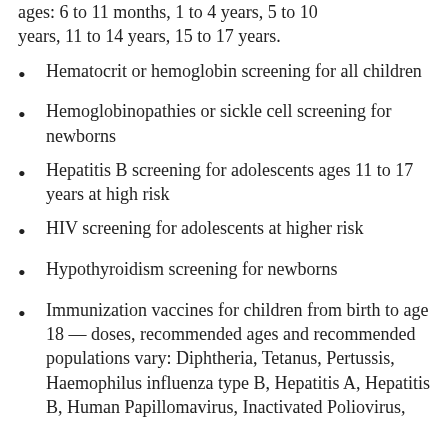ages: 6 to 11 months, 1 to 4 years, 5 to 10 years, 11 to 14 years, 15 to 17 years.
Hematocrit or hemoglobin screening for all children
Hemoglobinopathies or sickle cell screening for newborns
Hepatitis B screening for adolescents ages 11 to 17 years at high risk
HIV screening for adolescents at higher risk
Hypothyroidism screening for newborns
Immunization vaccines for children from birth to age 18 — doses, recommended ages and recommended populations vary: Diphtheria, Tetanus, Pertussis, Haemophilus influenza type B, Hepatitis A, Hepatitis B, Human Papillomavirus, Inactivated Poliovirus,